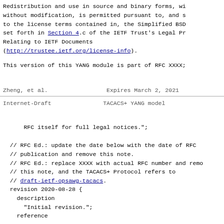Redistribution and use in source and binary forms, wi without modification, is permitted pursuant to, and s to the license terms contained in, the Simplified BSD set forth in Section 4.c of the IETF Trust's Legal Pr Relating to IETF Documents (http://trustee.ietf.org/license-info).
This version of this YANG module is part of RFC XXXX;
Zheng, et al.                    Expires March 2, 2021
Internet-Draft                   TACACS+ YANG model
RFC itself for full legal notices.";
// RFC Ed.: update the date below with the date of RFC // publication and remove this note. // RFC Ed.: replace XXXX with actual RFC number and remo // this note, and the TACACS+ Protocol refers to // draft-ietf-opsawg-tacacs.
revision 2020-08-28 { description "Initial revision."; reference